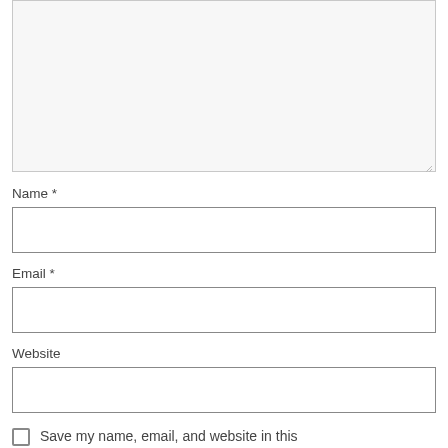[Figure (screenshot): A large textarea input box with a light gray background and resize handle in the bottom-right corner]
Name *
[Figure (screenshot): A single-line text input box for Name]
Email *
[Figure (screenshot): A single-line text input box for Email]
Website
[Figure (screenshot): A single-line text input box for Website]
Save my name, email, and website in this browser for the next time I comment.